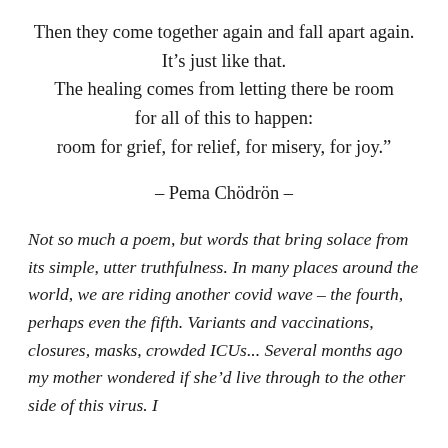Then they come together again and fall apart again.
It's just like that.
The healing comes from letting there be room for all of this to happen:
room for grief, for relief, for misery, for joy."
– Pema Chödrön –
Not so much a poem, but words that bring solace from its simple, utter truthfulness. In many places around the world, we are riding another covid wave – the fourth, perhaps even the fifth. Variants and vaccinations, closures, masks, crowded ICUs... Several months ago my mother wondered if she'd live through to the other side of this virus. I